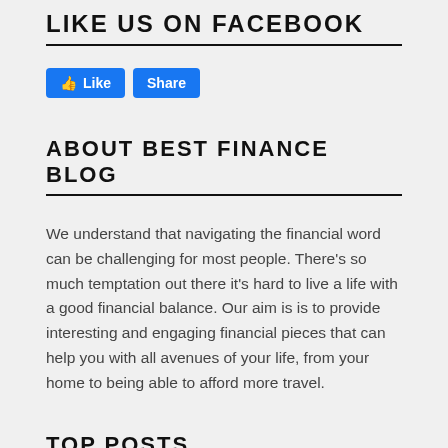LIKE US ON FACEBOOK
[Figure (other): Facebook Like and Share buttons rendered as blue rounded rectangles with white text]
ABOUT BEST FINANCE BLOG
We understand that navigating the financial word can be challenging for most people. There's so much temptation out there it's hard to live a life with a good financial balance. Our aim is is to provide interesting and engaging financial pieces that can help you with all avenues of your life, from your home to being able to afford more travel.
TOP POSTS